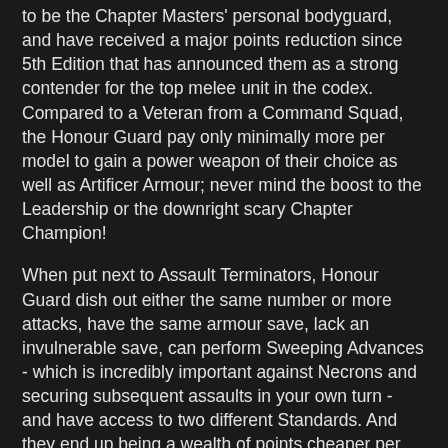to be the Chapter Masters' personal bodyguard, and have received a major points reduction since 5th Edition that has announced them as a strong contender for the top melee unit in the codex. Compared to a Veteran from a Command Squad, the Honour Guard pay only minimally more per model to gain a power weapon of their choice as well as Artificer Armour; never mind the boost to the Leadership or the downright scary Chapter Champion!
When put next to Assault Terminators, Honour Guard dish out either the same number or more attacks, have the same armour save, lack an invulnerable save, can perform Sweeping Advances - which is incredibly important against Necrons and securing subsequent assaults in your own turn - and have access to two different Standards. And they end up being a wealth of points cheaper per model than Terminators of either variety to boot! This has led to many referring to Honour Guard as 'discount Assault Terminators', which is certainly true to an extent; unfortunately, you cannot take an Honour Guard unit without employing a Chapter Master, nor you can take more than you have Chapter Masters themselves. This limits the uses of the unit, while the lack of any ranged weapons of note means that a